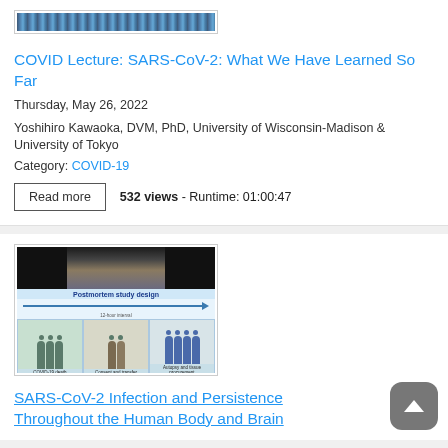[Figure (screenshot): Thumbnail image for COVID lecture video, showing crowd/audience scene]
COVID Lecture: SARS-CoV-2: What We Have Learned So Far
Thursday, May 26, 2022
Yoshihiro Kawaoka, DVM, PhD, University of Wisconsin-Madison & University of Tokyo
Category: COVID-19
Read more   532 views - Runtime: 01:00:47
[Figure (screenshot): Thumbnail showing postmortem study design slide with images of researchers in protective gear]
SARS-CoV-2 Infection and Persistence Throughout the Human Body and Brain